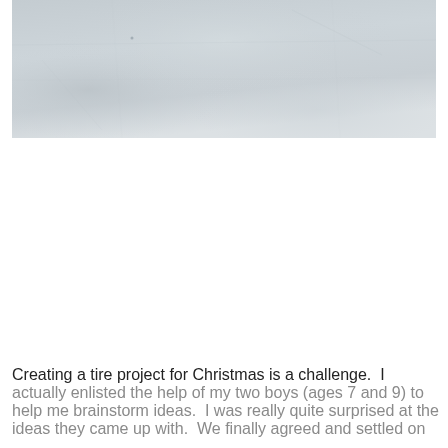[Figure (photo): A photograph showing a light gray and white textured surface, likely snow or a pale concrete/stone material, with subtle variations in tone.]
Creating a tire project for Christmas is a challenge.  I actually enlisted the help of my two boys (ages 7 and 9) to help me brainstorm ideas.  I was really quite surprised at the ideas they came up with.  We finally agreed and settled on